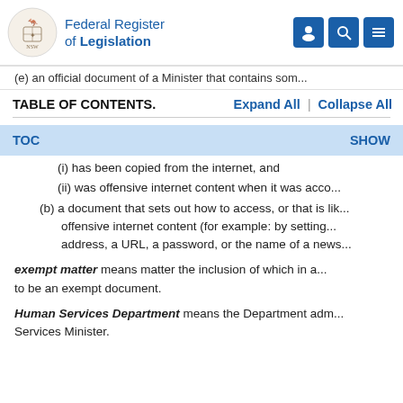Federal Register of Legislation
(e) an official document of a Minister that contains som...
TABLE OF CONTENTS.    Expand All  |  Collapse All
TOC    SHOW
(i) has been copied from the internet, and
(ii) was offensive internet content when it was acco...
(b) a document that sets out how to access, or that is lik... offensive internet content (for example: by setting... address, a URL, a password, or the name of a news...
exempt matter means matter the inclusion of which in a... to be an exempt document.
Human Services Department means the Department adm... Services Minister.